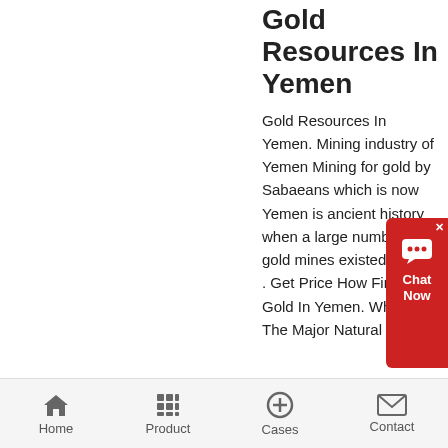Gold Resources In Yemen
Gold Resources In Yemen. Mining industry of Yemen Mining for gold by Sabaeans which is now Yemen is ancient history when a large number of gold mines existed It is sai . Get Price How Find Ores Gold In Yemen. What Are The Major Natural
Home  Product  Cases  Contact